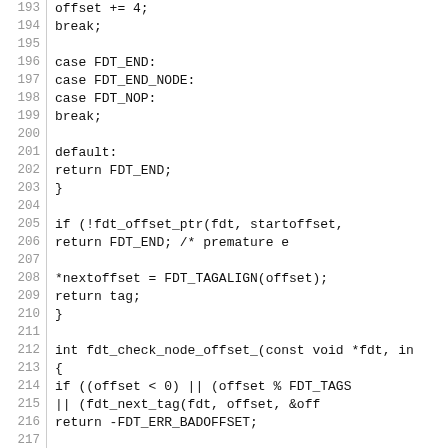[Figure (screenshot): Source code listing showing C code lines 193-222, including switch cases FDT_END, FDT_END_NODE, FDT_NOP, a default case, fdt_offset_ptr check, FDT_TAGALIGN assignment, and function definitions fdt_check_node_offset_ and fdt_check_prop_offset_.]